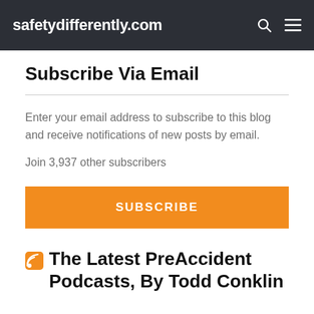safetydifferently.com
Subscribe Via Email
Enter your email address to subscribe to this blog and receive notifications of new posts by email.
Join 3,937 other subscribers
SUBSCRIBE
The Latest PreAccident Podcasts, By Todd Conklin